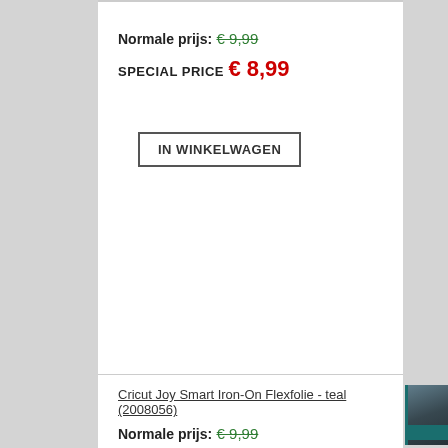Normale prijs: € 9,99
SPECIAL PRICE € 8,99
IN WINKELWAGEN
Cricut Joy Smart Iron-On Flexfolie - teal (2008056)
Normale prijs: € 9,99
SPECIAL PRICE € 8,99